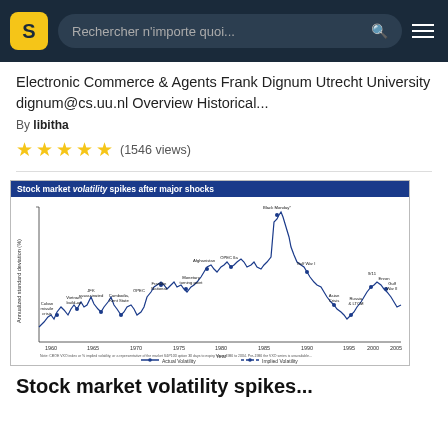Rechercher n'importe quoi...
Electronic Commerce & Agents Frank Dignum Utrecht University dignum@cs.uu.nl Overview Historical...
By libitha
★★★★★ (1546 views)
[Figure (continuous-plot): Line chart titled 'Stock market volatility spikes after major shocks' showing annualized standard deviation (%) from 1960 to 2005. Key events annotated include Cuban missile crisis, Vietnam build-up, JFK assassinated, Cambodia/Kent State, OPEC, Franklin National, Monetary turning point, Afghanistan, OPEC IIa, Gulf War I, Asian Crisis, Russia & LTCM, 9/11, Enron/Gulf War II, and Black Monday. Shows both Actual Volatility and Implied Volatility lines.]
Stock market volatility spikes...